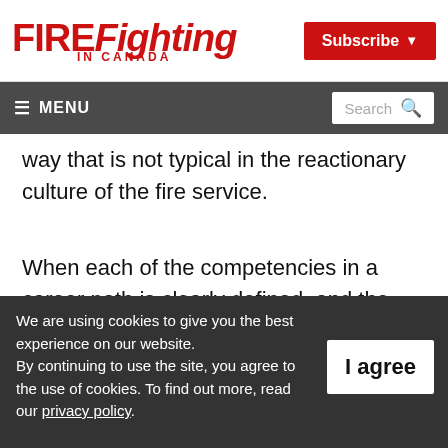FIREFighting IN CANADA | Subscribe
≡ MENU | Search
way that is not typical in the reactionary culture of the fire service.
When each of the competencies in a career path is clearly defined, and the training needed is practical, employees can take control of their careers. Competency gives confidence,
We are using cookies to give you the best experience on our website. By continuing to use the site, you agree to the use of cookies. To find out more, read our privacy policy.